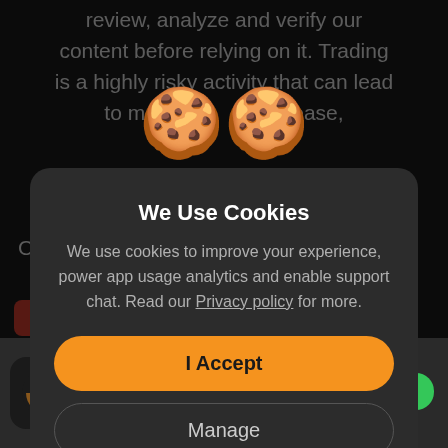review, analyze and verify our content before relying on it. Trading is a highly risky activity that can lead to ma…lease,
Ca
[Figure (illustration): Two cartoon cookie emojis with smiling faces]
We Use Cookies
We use cookies to improve your experience, power app usage analytics and enable support chat. Read our Privacy policy for more.
I Accept
Manage
[Figure (logo): App icon with orange half-circle chart logo on dark background]
(935K)
GET